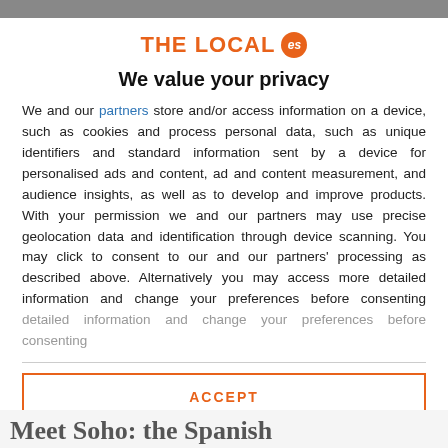[Figure (logo): THE LOCAL es logo — orange text with orange circular badge containing 'es']
We value your privacy
We and our partners store and/or access information on a device, such as cookies and process personal data, such as unique identifiers and standard information sent by a device for personalised ads and content, ad and content measurement, and audience insights, as well as to develop and improve products. With your permission we and our partners may use precise geolocation data and identification through device scanning. You may click to consent to our and our partners' processing as described above. Alternatively you may access more detailed information and change your preferences before consenting
ACCEPT
MORE OPTIONS
Meet Soho: the Spanish